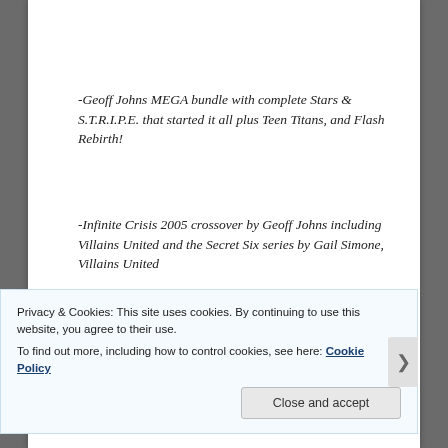-Geoff Johns MEGA bundle with complete Stars & S.T.R.I.P.E. that started it all plus Teen Titans, and Flash Rebirth!
-Infinite Crisis 2005 crossover by Geoff Johns including Villains United and the Secret Six series by Gail Simone, Villains United
-Justice Society by Geoff Johns: The complete JSA by Geoff Johns, plus various Starman issues by James
Privacy & Cookies: This site uses cookies. By continuing to use this website, you agree to their use.
To find out more, including how to control cookies, see here: Cookie Policy